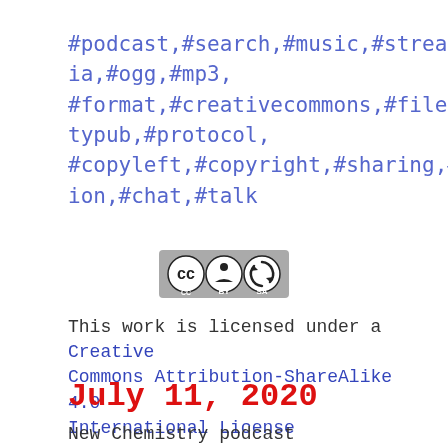#podcast,#search,#music,#streaming,#media,#ogg,#mp3,
#format,#creativecommons,#files,#activitypub,#protocol,
#copyleft,#copyright,#sharing,#information,#chat,#talk
[Figure (logo): Creative Commons BY-SA license badge - gray rectangle with CC, BY, SA circular icons]
This work is licensed under a Creative Commons Attribution-ShareAlike 4.0 International License
July 11, 2020
New Chemistry podcast